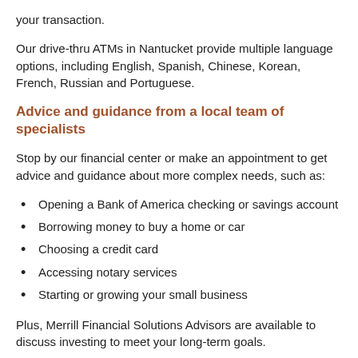your transaction.
Our drive-thru ATMs in Nantucket provide multiple language options, including English, Spanish, Chinese, Korean, French, Russian and Portuguese.
Advice and guidance from a local team of specialists
Stop by our financial center or make an appointment to get advice and guidance about more complex needs, such as:
Opening a Bank of America checking or savings account
Borrowing money to buy a home or car
Choosing a credit card
Accessing notary services
Starting or growing your small business
Plus, Merrill Financial Solutions Advisors are available to discuss investing to meet your long-term goals.
Flexible banking solutions in Nantucket, MA